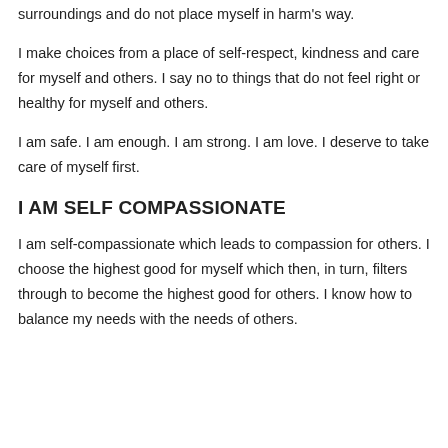surroundings and do not place myself in harm's way.
I make choices from a place of self-respect, kindness and care for myself and others. I say no to things that do not feel right or healthy for myself and others.
I am safe. I am enough. I am strong. I am love. I deserve to take care of myself first.
I AM SELF COMPASSIONATE
I am self-compassionate which leads to compassion for others. I choose the highest good for myself which then, in turn, filters through to become the highest good for others. I know how to balance my needs with the needs of others.